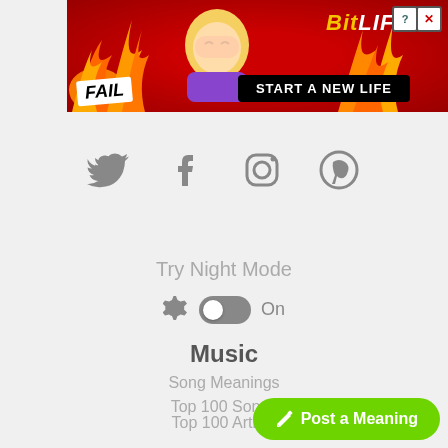[Figure (screenshot): BitLife advertisement banner with red/fire background, cartoon character, FAIL label, and 'START A NEW LIFE' tagline]
[Figure (infographic): Social media icons: Twitter, Facebook, Instagram, Pinterest in gray]
Try Night Mode
[Figure (infographic): Toggle switch in On position with gear icon]
Music
Song Meanings
Top 100 Songs
Top 100 Artists
Song Releases
Album Rele…
[Figure (infographic): Green 'Post a Meaning' button with pencil icon]